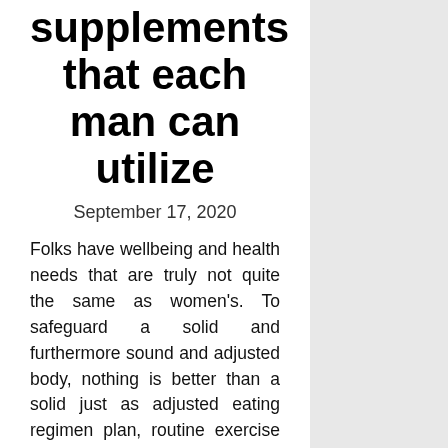supplements that each man can utilize
September 17, 2020
Folks have wellbeing and health needs that are truly not quite the same as women's. To safeguard a solid and furthermore sound and adjusted body, nothing is better than a solid just as adjusted eating regimen plan, routine exercise and furthermore, clearly, a clean just as solid and adjusted method of living. Regardless, there are various significant supplements that each man can utilize